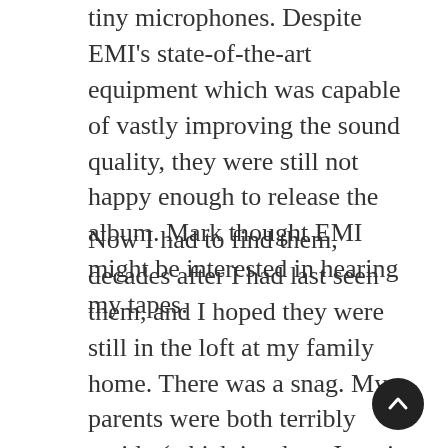tiny microphones. Despite EMI's state-of-the-art equipment which was capable of vastly improving the sound quality, they were still not happy enough to release the album. Mark thought EMI might be interested in hearing my tapes.
Now I had to find them, decades after I had last seen them, and I hoped they were still in the loft at my family home. There was a snag. My parents were both terribly untidy (which is where I get it from) and every time they wanted to clear up the house for visitors they would sweep everything from every flat surface wholesale into cardboard boxes and shove them in the loft, never to be seen again. The loft was a nightmare of unmarked, semi-collapsed, dusty